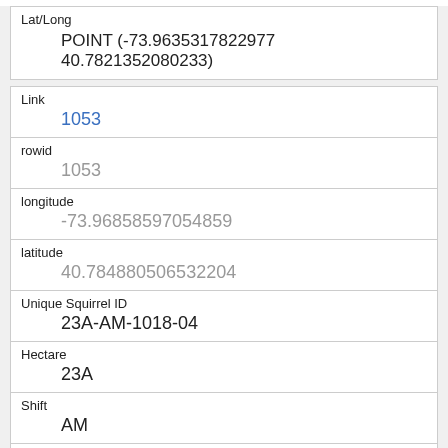| Lat/Long | POINT (-73.9635317822977 40.7821352080233) |
| Link | 1053 |
| rowid | 1053 |
| longitude | -73.96858597054859 |
| latitude | 40.784880506532204 |
| Unique Squirrel ID | 23A-AM-1018-04 |
| Hectare | 23A |
| Shift | AM |
| Date | 10182018 |
| Hectare Squirrel Number | 4 |